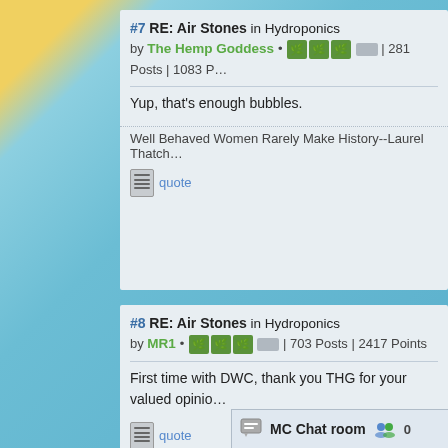#7 RE: Air Stones in Hydroponics
by The Hemp Goddess • [badges] | 281 Posts | 1083 P...
Yup, that's enough bubbles.
Well Behaved Women Rarely Make History--Laurel Thatch...
quote
#8 RE: Air Stones in Hydroponics
by MR1 • [badges] | 703 Posts | 2417 Points
First time with DWC, thank you THG for your valued opinio...
quote
MC Chat room  0